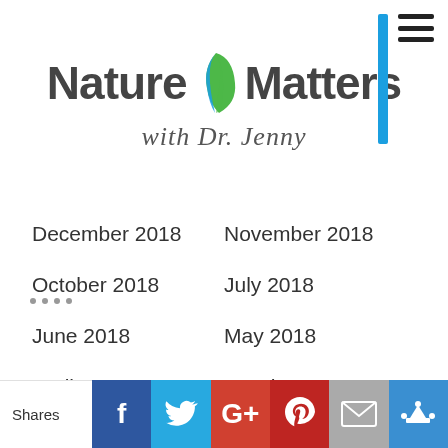Nature Matters with Dr. Jenny
December 2018
November 2018
October 2018
July 2018
June 2018
May 2018
April 2018
March 2018
February 2018
January 2018
December 2017
November 2017
CATEGORIES
ADHD
Apps